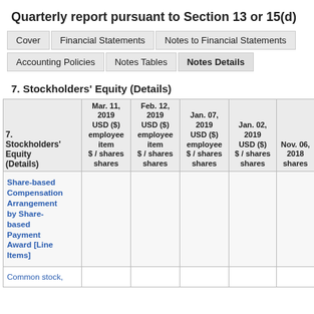Quarterly report pursuant to Section 13 or 15(d)
Cover | Financial Statements | Notes to Financial Statements | Accounting Policies | Notes Tables | Notes Details
7. Stockholders' Equity (Details)
| 7. Stockholders' Equity (Details) | Mar. 11, 2019 USD ($) employee item $ / shares shares | Feb. 12, 2019 USD ($) employee item $ / shares shares | Jan. 07, 2019 USD ($) employee $ / shares shares | Jan. 02, 2019 USD ($) $ / shares shares | Nov. 06, 2018 shares |
| --- | --- | --- | --- | --- | --- |
| Share-based Compensation Arrangement by Share-based Payment Award [Line Items] |  |  |  |  |  |
| Common stock, |  |  |  |  |  |